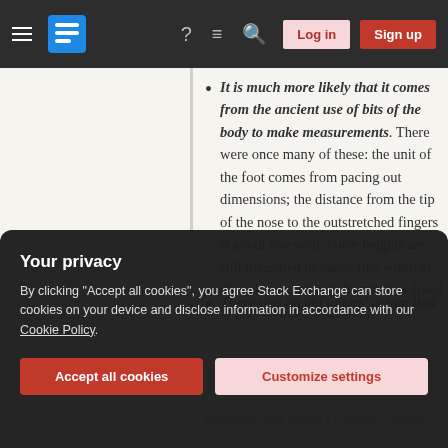Stack Exchange navigation bar with hamburger menu, logo, help, chat, search icons, Log in and Sign up buttons
It is much more likely that it comes from the ancient use of bits of the body to make measurements. There were once many of these: the unit of the foot comes from pacing out dimensions; the distance from the tip of the nose to the outstretched fingers is about one yard; horse heights are still measured in hands (the width of the palm and closed thumb, now fixed at four inches); and so on.
There was an old tailors' axiom that…
remember once seeing a carpenter actually…
Your privacy
By clicking "Accept all cookies", you agree Stack Exchange can store cookies on your device and disclose information in accordance with our Cookie Policy.